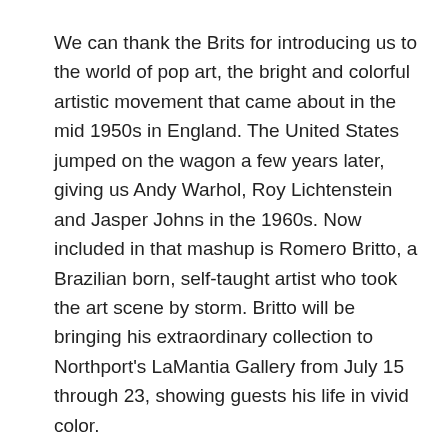We can thank the Brits for introducing us to the world of pop art, the bright and colorful artistic movement that came about in the mid 1950s in England. The United States jumped on the wagon a few years later, giving us Andy Warhol, Roy Lichtenstein and Jasper Johns in the 1960s. Now included in that mashup is Romero Britto, a Brazilian born, self-taught artist who took the art scene by storm. Britto will be bringing his extraordinary collection to Northport's LaMantia Gallery from July 15 through 23, showing guests his life in vivid color.
“I love that I get to travel a lot and share my art with as many people as